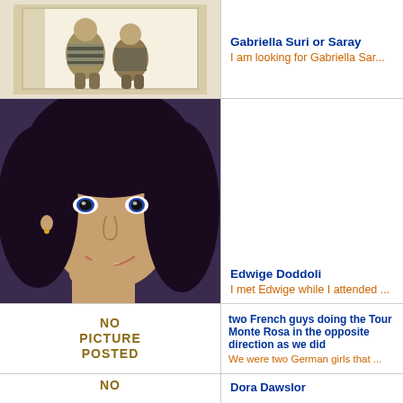[Figure (photo): Black and white vintage photo of two people sitting together]
Gabriella Suri or Saray
I am looking for Gabriella Sar...
[Figure (photo): Close-up color photo of a smiling woman with dark hair, hand on chin]
Edwige Doddoli
I met Edwige while I attended ...
[Figure (photo): No picture posted placeholder image]
two French guys doing the Tour Monte Rosa in the opposite direction as we did
We were two German girls that ...
[Figure (photo): No picture posted placeholder image (partial)]
Dora Dawslor